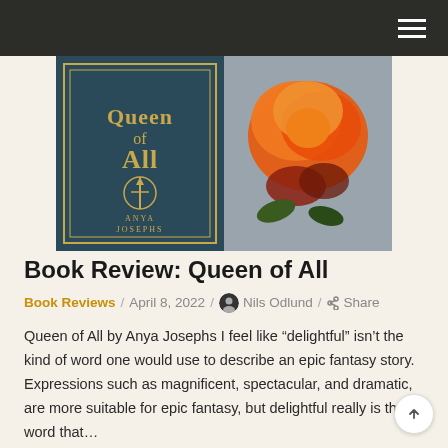[Figure (photo): Book cover of 'Queen of All' by Anya Josephs, showing a teal/dark green book cover with gold gothic lettering and a crown-sword emblem on the left, and a large orange-red rose against a grey background on the right.]
Book Review: Queen of All
Book Reviews / April 8, 2022 / Nils Odlund / Share
Queen of All by Anya Josephs I feel like “delightful” isn’t the kind of word one would use to describe an epic fantasy story. Expressions such as magnificent, spectacular, and dramatic, are more suitable for epic fantasy, but delightful really is the word that…